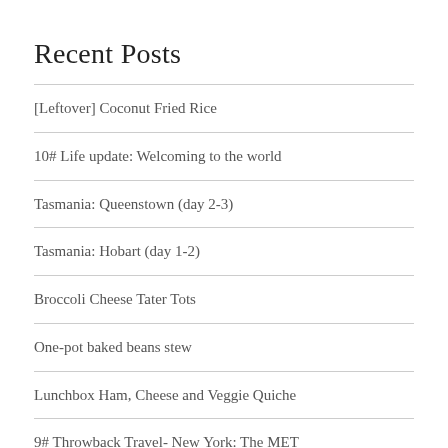Recent Posts
[Leftover] Coconut Fried Rice
10# Life update: Welcoming to the world
Tasmania: Queenstown (day 2-3)
Tasmania: Hobart (day 1-2)
Broccoli Cheese Tater Tots
One-pot baked beans stew
Lunchbox Ham, Cheese and Veggie Quiche
9# Throwback Travel- New York: The MET
8# Throwback Travel- New York: Grand Central, Central Park & 5th Ave (day 7)